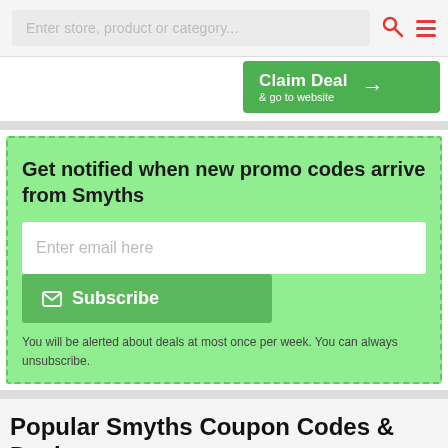Enter store, product or category...
[Figure (screenshot): Claim Deal & go to website green button with arrow]
Get notified when new promo codes arrive from Smyths
Enter email here
Subscribe
You will be alerted about deals at most once per week. You can always unsubscribe.
Popular Smyths Coupon Codes & Deals